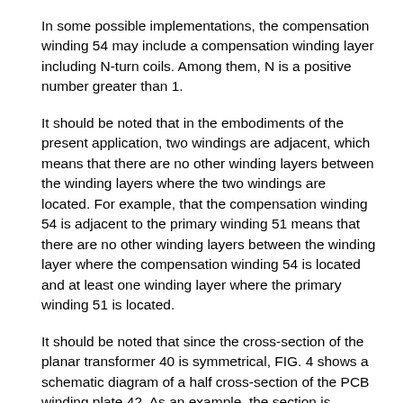In some possible implementations, the compensation winding 54 may include a compensation winding layer including N-turn coils. Among them, N is a positive number greater than 1.
It should be noted that in the embodiments of the present application, two windings are adjacent, which means that there are no other winding layers between the winding layers where the two windings are located. For example, that the compensation winding 54 is adjacent to the primary winding 51 means that there are no other winding layers between the winding layer where the compensation winding 54 is located and at least one winding layer where the primary winding 51 is located.
It should be noted that since the cross-section of the planar transformer 40 is symmetrical, FIG. 4 shows a schematic diagram of a half cross-section of the PCB winding plate 42. As an example, the section is located in the zr plane formed by the z-axis and the r-axis, where the z-axis is perpendicular to the plane where the surface of the PCB winding plate is located (for example, it can also be called the first plane), and the r-axis is perpendicular to...